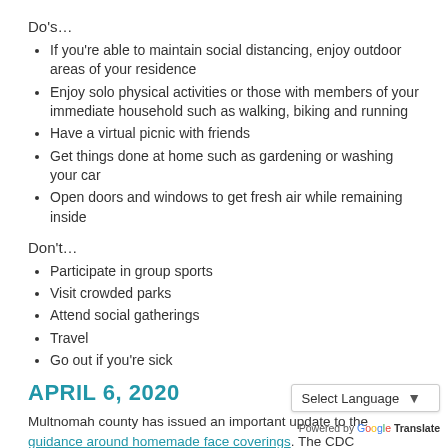Do's…
If you're able to maintain social distancing, enjoy outdoor areas of your residence
Enjoy solo physical activities or those with members of your immediate household such as walking, biking and running
Have a virtual picnic with friends
Get things done at home such as gardening or washing your car
Open doors and windows to get fresh air while remaining inside
Don't…
Participate in group sports
Visit crowded parks
Attend social gatherings
Travel
Go out if you're sick
APRIL 6, 2020
Multnomah county has issued an important update to the guidance around homemade face coverings. The CDC recommends wearing a